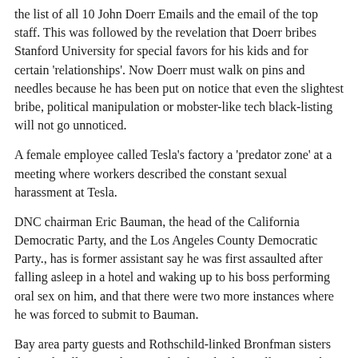the list of all 10 John Doerr Emails and the email of the top staff. This was followed by the revelation that Doerr bribes Stanford University for special favors for his kids and for certain 'relationships'. Now Doerr must walk on pins and needles because he has been put on notice that even the slightest bribe, political manipulation or mobster-like tech black-listing will not go unnoticed.
A female employee called Tesla's factory a 'predator zone' at a meeting where workers described the constant sexual harassment at Tesla.
DNC chairman Eric Bauman, the head of the California Democratic Party, and the Los Angeles County Democratic Party., has is former assistant say he was first assaulted after falling asleep in a hotel and waking up to his boss performing oral sex on him, and that there were two more instances where he was forced to submit to Bauman.
Bay area party guests and Rothschild-linked Bronfman sisters donated millions to the sex cult whose leaders, Allison Mack and Keith Raniere, have been charged with child sex trafficking.
Goddard, a director, producer and theme park designer, has faced many sex abuse allegations. Eight former members of a Santa Barbara youth theater group in the 1970s alleged that Goddard